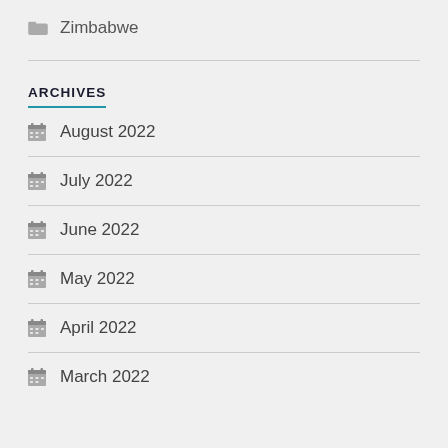Zimbabwe
ARCHIVES
August 2022
July 2022
June 2022
May 2022
April 2022
March 2022